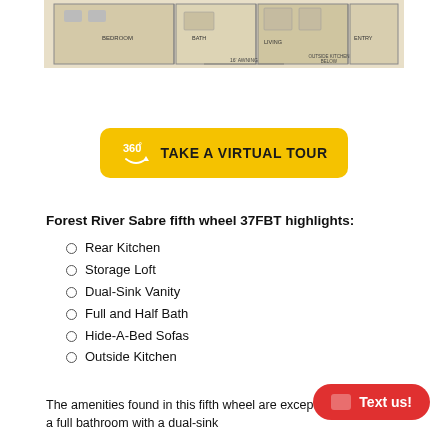[Figure (schematic): Partial floor plan schematic of a fifth wheel RV (Forest River Sabre 37FBT), showing top-down layout with room labels and dimensions.]
[Figure (other): Yellow rounded rectangle button with 360-degree icon and text 'TAKE A VIRTUAL TOUR']
Forest River Sabre fifth wheel 37FBT highlights:
Rear Kitchen
Storage Loft
Dual-Sink Vanity
Full and Half Bath
Hide-A-Bed Sofas
Outside Kitchen
The amenities found in this fifth wheel are exceptional! There is a full bathroom with a dual-sink